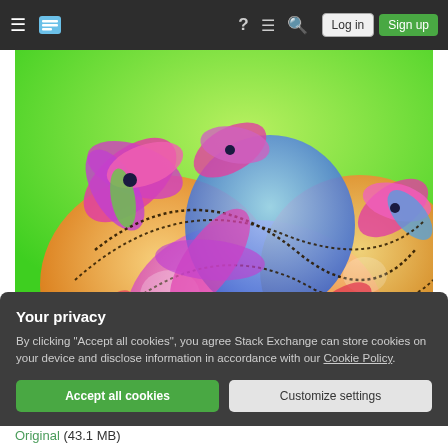Stack Exchange navigation bar with hamburger menu, logo, help, chat, search icons, Log in and Sign up buttons
[Figure (illustration): Colorful fractal image with spiraling flower-like patterns in pink, purple, orange, blue, and green on a bright green background]
Your privacy
By clicking "Accept all cookies", you agree Stack Exchange can store cookies on your device and disclose information in accordance with our Cookie Policy.
Accept all cookies | Customize settings
Original (43.1 MB)